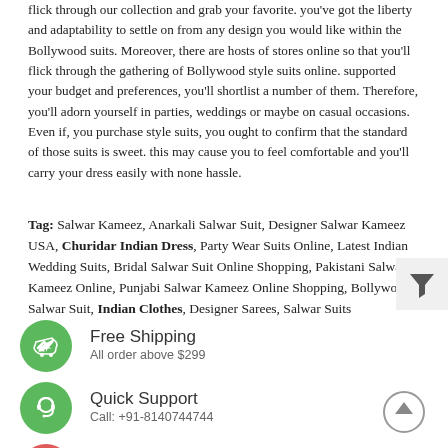flick through our collection and grab your favorite. you've got the liberty and adaptability to settle on from any design you would like within the Bollywood suits. Moreover, there are hosts of stores online so that you'll flick through the gathering of Bollywood style suits online. supported your budget and preferences, you'll shortlist a number of them. Therefore, you'll adorn yourself in parties, weddings or maybe on casual occasions. Even if, you purchase style suits, you ought to confirm that the standard of those suits is sweet. this may cause you to feel comfortable and you'll carry your dress easily with none hassle.
Tag: Salwar Kameez, Anarkali Salwar Suit, Designer Salwar Kameez USA, Churidar Indian Dress, Party Wear Suits Online, Latest Indian Wedding Suits, Bridal Salwar Suit Online Shopping, Pakistani Salwar Kameez Online, Punjabi Salwar Kameez Online Shopping, Bollywood Salwar Suit, Indian Clothes, Designer Sarees, Salwar Suits
[Figure (infographic): Filter icon - funnel shape on light grey background]
Free Shipping
All order above $299
Quick Support
Call: +91-8140744744
Easy Return
Easy return policy!
[Figure (infographic): Scroll to top arrow icon in grey circle]